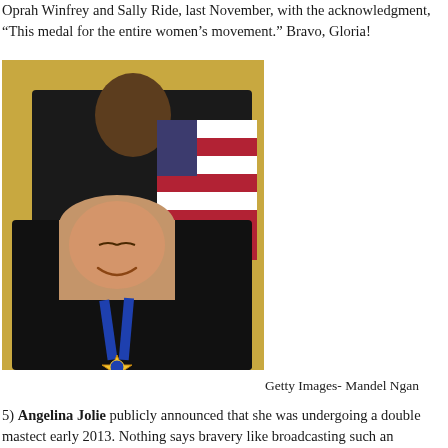Oprah Winfrey and Sally Ride, last November, with the acknowledgment, “This medal for the entire women’s movement.” Bravo, Gloria!
[Figure (photo): A woman smiling and wearing a blue Presidential Medal of Freedom ribbon and star-shaped medal around her neck, while a man in a dark suit stands behind her placing the medal. An American flag is visible in the background.]
Getty Images- Mandel Ngan
5) Angelina Jolie publicly announced that she was undergoing a double mastect early 2013. Nothing says bravery like broadcasting such an extremely persona